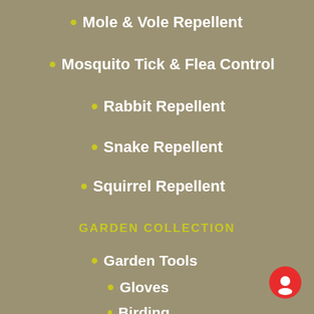Mole & Vole Repellent
Mosquito Tick & Flea Control
Rabbit Repellent
Snake Repellent
Squirrel Repellent
GARDEN COLLECTION
Garden Tools
Gloves
Birding
Gifts
Soil Amendments
INFORMATION